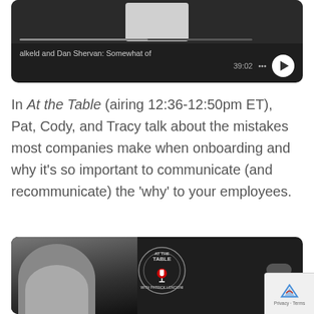[Figure (screenshot): Podcast player widget with dark background showing title 'alkeld and Dan Shervan: Somewhat of' and timestamp 39:02 with play button]
In At the Table (airing 12:36-12:50pm ET), Pat, Cody, and Tracy talk about the mistakes most companies make when onboarding and why it's so important to communicate (and recommunicate) the 'why' to your employees.
[Figure (screenshot): Podcast player widget showing 'At the Table with Patrick Lencioni' podcast cover art with a smiling man and microphone logo]